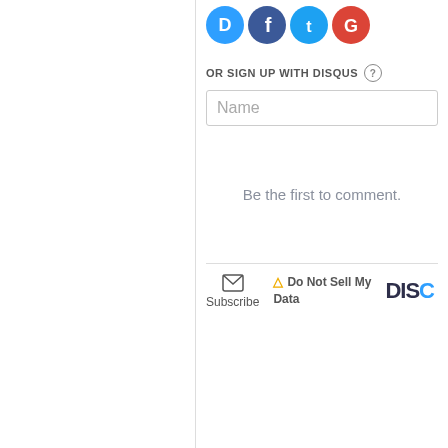[Figure (other): Social login icons: Disqus (blue), Facebook (dark blue), Twitter (light blue), Google (red) — circular icon buttons]
OR SIGN UP WITH DISQUS ?
Name
Be the first to comment.
Subscribe
Do Not Sell My Data
DISQ